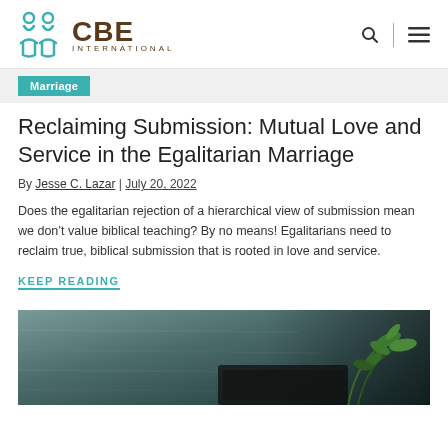CBE International
Marriage
Reclaiming Submission: Mutual Love and Service in the Egalitarian Marriage
By Jesse C. Lazar | July 20, 2022
Does the egalitarian rejection of a hierarchical view of submission mean we don’t value biblical teaching? By no means! Egalitarians need to reclaim true, biblical submission that is rooted in love and service.
KEEP READING
[Figure (photo): Photo of a dark surface with a green plant in the lower right corner, appears to be a desk or table setting]